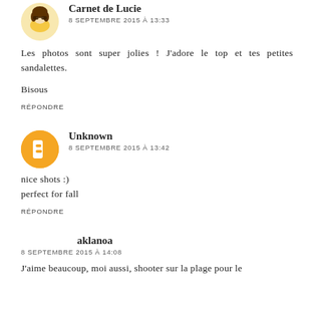Carnet de Lucie
8 SEPTEMBRE 2015 À 13:33
Les photos sont super jolies ! J'adore le top et tes petites sandalettes.

Bisous
RÉPONDRE
Unknown
8 SEPTEMBRE 2015 À 13:42
nice shots :)
perfect for fall
RÉPONDRE
aklanoa
8 SEPTEMBRE 2015 À 14:08
J'aime beaucoup, moi aussi, shooter sur la plage pour le